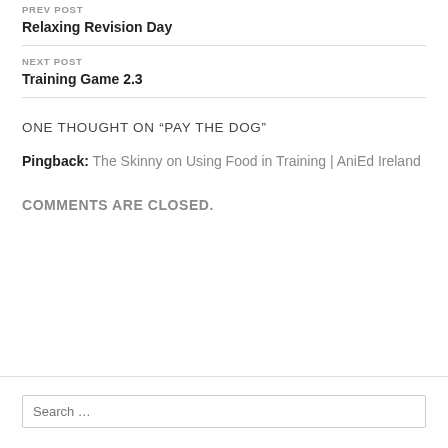PREV POST
Relaxing Revision Day
NEXT POST
Training Game 2.3
ONE THOUGHT ON “PAY THE DOG”
Pingback: The Skinny on Using Food in Training | AniEd Ireland
COMMENTS ARE CLOSED.
Search ...